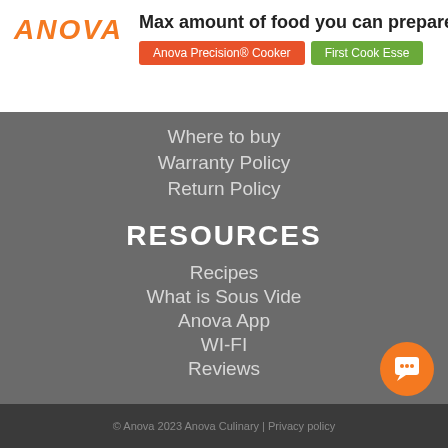ANOVA — Max amount of food you can prepare i... — Anova Precision® Cooker | First Cook Esse
Where to buy
Warranty Policy
Return Policy
RESOURCES
Recipes
What is Sous Vide
Anova App
WI-FI
Reviews
© Anova 2023 Anova Culinary | Privacy policy